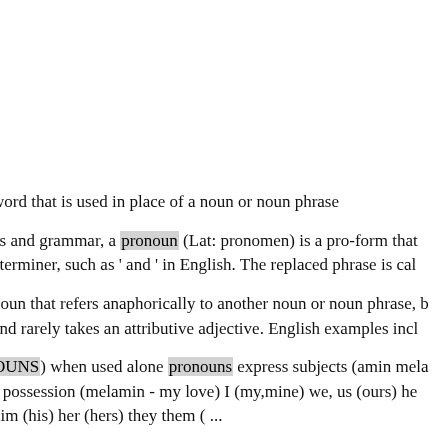word that is used in place of a noun or noun phrase
cs and grammar, a pronoun (Lat: pronomen) is a pro-form that ... eterminer, such as ' and ' in English. The replaced phrase is cal...
noun that refers anaphorically to another noun or noun phrase, b... and rarely takes an attributive adjective. English examples incl...
OUNS) when used alone pronouns express subjects (amin mela... s possession (melamin - my love) I (my,mine) we, us (ours) he... him (his) her (hers) they them ( ...
Les pronoms)) They are very important words which stitch se... re are several types of these: